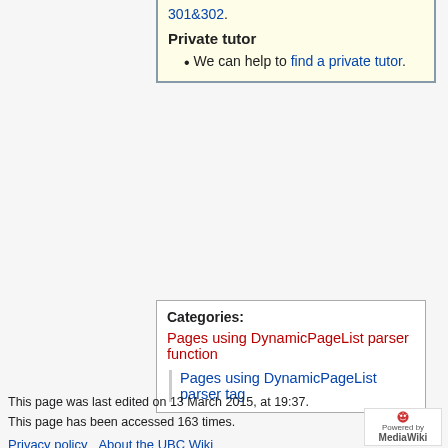301&302.
Private tutor
We can help to find a private tutor.
Categories:
Pages using DynamicPageList parser function
Pages using DynamicPageList parser tag
This page was last edited on 13 March 2015, at 19:37.
This page has been accessed 163 times.
Privacy policy   About the UBC Wiki   Disclaimers